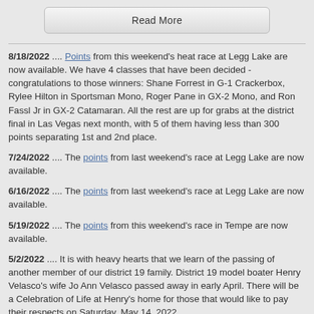Read More
8/18/2022 .... Points from this weekend's heat race at Legg Lake are now available. We have 4 classes that have been decided - congratulations to those winners: Shane Forrest in G-1 Crackerbox, Rylee Hilton in Sportsman Mono, Roger Pane in GX-2 Mono, and Ron Fassl Jr in GX-2 Catamaran. All the rest are up for grabs at the district final in Las Vegas next month, with 5 of them having less than 300 points separating 1st and 2nd place.
7/24/2022 .... The points from last weekend's race at Legg Lake are now available.
6/16/2022 .... The points from last weekend's race at Legg Lake are now available.
5/19/2022 .... The points from this weekend's race in Tempe are now available.
5/2/2022 .... It is with heavy hearts that we learn of the passing of another member of our district 19 family. District 19 model boater Henry Velasco's wife Jo Ann Velasco passed away in early April. There will be a Celebration of Life at Henry's home for those that would like to pay their respects on Saturday, May 14, 2022.